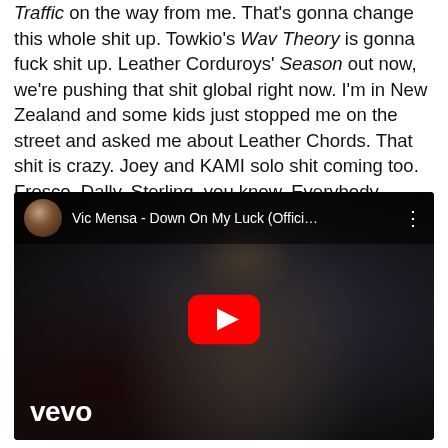Traffic on the way from me. That's gonna change this whole shit up. Towkio's Wav Theory is gonna fuck shit up. Leather Corduroys' Season out now, we're pushing that shit global right now. I'm in New Zealand and some kids just stopped me on the street and asked me about Leather Chords. That shit is crazy. Joey and KAMI solo shit coming too. Fresco, Dally, Sterling, you know. Everybody coming heavy this year.
[Figure (screenshot): Embedded YouTube video thumbnail showing Vic Mensa - Down On My Luck (Offici...) with a young man in a black jacket against a dark background, with a YouTube play button overlay and the Vevo logo in the bottom left.]